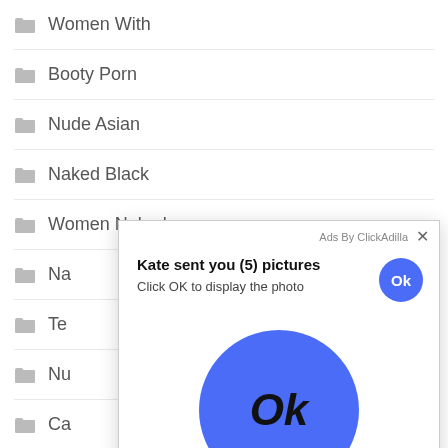Women With
Booty Porn
Nude Asian
Naked Black
Women Naked
Na...
Te...
Nu...
Ca...
Po...
W...
Hu...
[Figure (screenshot): Ad popup overlay from ClickAdilla showing 'Kate sent you (5) pictures. Click OK to display the photo' with a blue Ok button (small, top right) and a large blue circle Ok button in the center of the popup.]